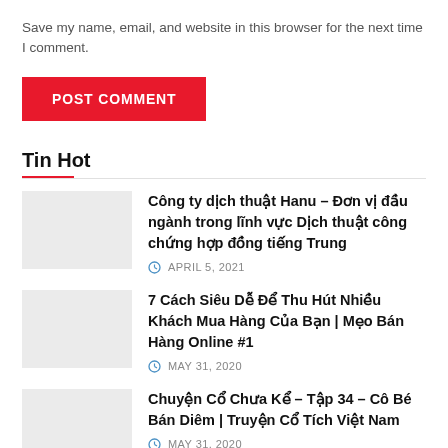Save my name, email, and website in this browser for the next time I comment.
POST COMMENT
Tin Hot
Công ty dịch thuật Hanu – Đơn vị đầu ngành trong lĩnh vực Dịch thuật công chứng hợp đồng tiếng Trung
APRIL 5, 2021
7 Cách Siêu Dễ Để Thu Hút Nhiều Khách Mua Hàng Của Bạn | Mẹo Bán Hàng Online #1
MAY 31, 2020
Chuyện Cổ Chưa Kể – Tập 34 – Cô Bé Bán Diêm | Truyện Cổ Tích Việt Nam
MAY 31, 2020